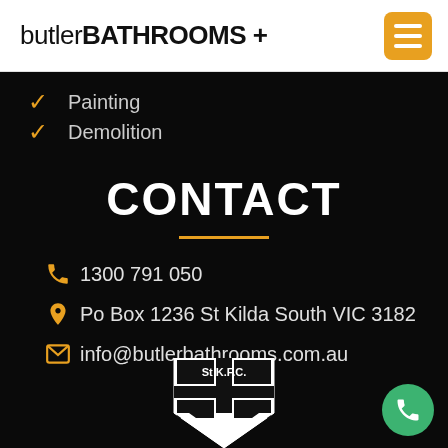butlerBATHROOMS +
Painting
Demolition
CONTACT
1300 791 050
Po Box 1236 St Kilda South VIC 3182
info@butlerbathrooms.com.au
[Figure (logo): St Kilda Football Club (St K.F.C.) crest/logo in black and white, partially cropped at bottom]